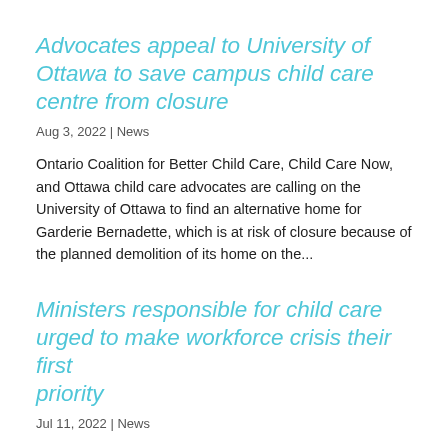Advocates appeal to University of Ottawa to save campus child care centre from closure
Aug 3, 2022 | News
Ontario Coalition for Better Child Care, Child Care Now, and Ottawa child care advocates are calling on the University of Ottawa to find an alternative home for Garderie Bernadette, which is at risk of closure because of the planned demolition of its home on the...
Ministers responsible for child care urged to make workforce crisis their first priority
Jul 11, 2022 | News